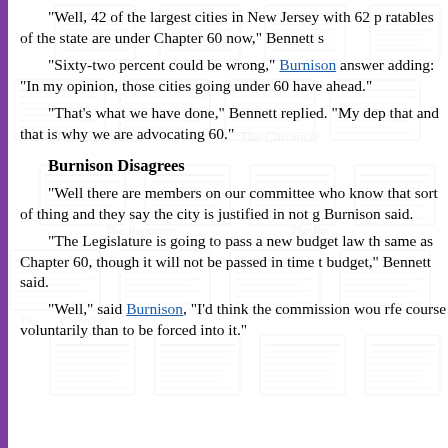"Well, 42 of the largest cities in New Jersey with 62 p ratables of the state are under Chapter 60 now," Bennett s
"Sixty-two percent could be wrong," Burnison answered, adding: "In my opinion, those cities going under 60 have ahead."
"That's what we have done," Bennett replied. "My dep that and that is why we are advocating 60."
Burnison Disagrees
"Well there are members on our committee who know that sort of thing and they say the city is justified in not g Burnison said.
"The Legislature is going to pass a new budget law th same as Chapter 60, though it will not be passed in time t budget," Bennett said.
"Well," said Burnison, "I'd think the commission wou rfe course voluntarily than to be forced into it."